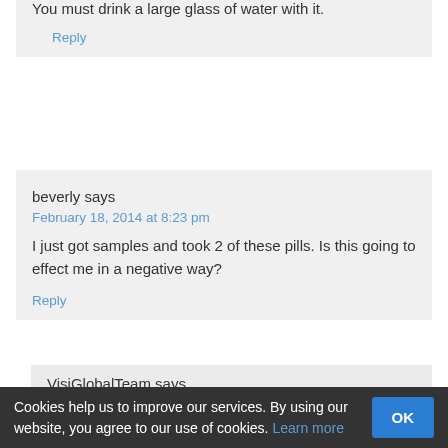You must drink a large glass of water with it.
Reply
beverly says
February 18, 2014 at 8:23 pm
I just got samples and took 2 of these pills. Is this going to effect me in a negative way?
Reply
VisiGlobalTeam says
Cookies help us to improve our services. By using our website, you agree to our use of cookies. Learn more